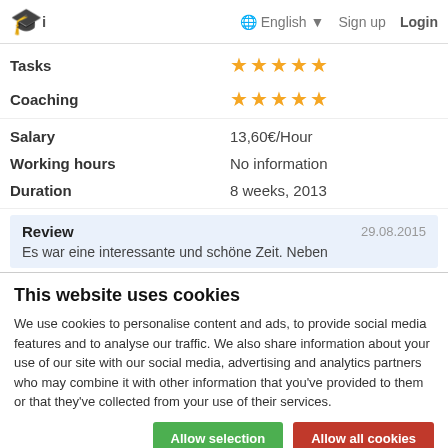i  English ▼  Sign up  Login
Tasks  ★★★★★
Coaching  ★★★★★
Salary  13,60€/Hour
Working hours  No information
Duration  8 weeks, 2013
Review  29.08.2015
Es war eine interessante und schöne Zeit. Neben
This website uses cookies
We use cookies to personalise content and ads, to provide social media features and to analyse our traffic. We also share information about your use of our site with our social media, advertising and analytics partners who may combine it with other information that you've provided to them or that they've collected from your use of their services.
Allow selection  Allow all cookies
✓ Necessary  □ Preferences  □ Statistics  □ Marketing  Show details ∨